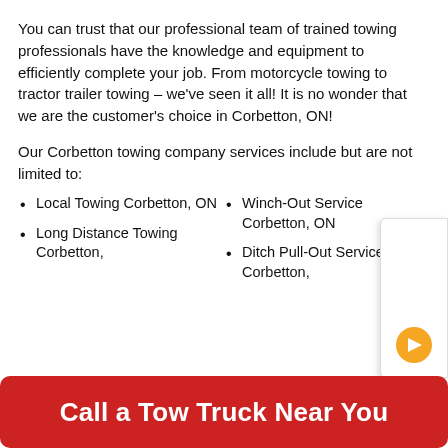You can trust that our professional team of trained towing professionals have the knowledge and equipment to efficiently complete your job. From motorcycle towing to tractor trailer towing – we've seen it all! It is no wonder that we are the customer's choice in Corbetton, ON!
Our Corbetton towing company services include but are not limited to:
Local Towing Corbetton, ON
Long Distance Towing Corbetton,
Winch-Out Service Corbetton, ON
Ditch Pull-Out Service Corbetton,
[Figure (other): Synetrt Global Solutions Assurance Card with orange arrow button]
Call a Tow Truck Near You